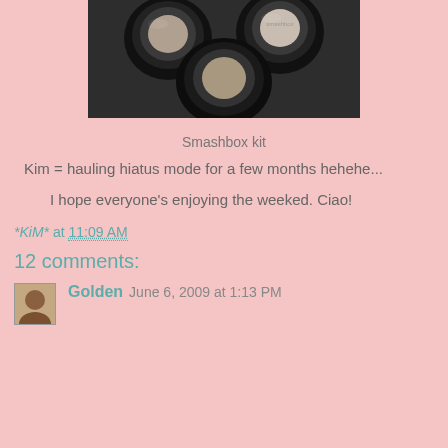[Figure (photo): Photo of Smashbox makeup kit with black round eyeshadow compacts arranged together]
Smashbox kit
Kim = hauling hiatus mode for a few months hehehe...
I hope everyone's enjoying the weeked. Ciao!
*KiM* at 11:09 AM
12 comments:
Golden June 6, 2009 at 1:13 PM